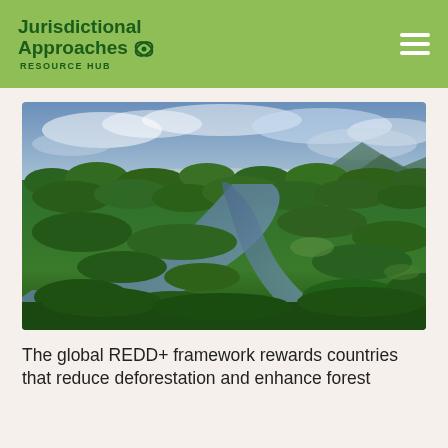Jurisdictional Approaches RESOURCE HUB
[Figure (photo): Aerial photograph of a tropical rainforest with a winding river cutting through dense green canopy, mountains and clouds visible in the background]
The global REDD+ framework rewards countries that reduce deforestation and enhance forest